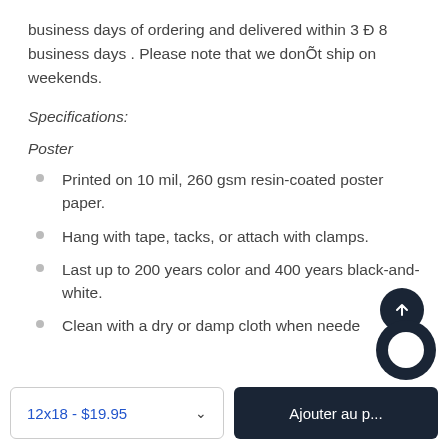business days of ordering and delivered within 3 Ð 8 business days . Please note that we donÕt ship on weekends.
Specifications:
Poster
Printed on 10 mil, 260 gsm resin-coated poster paper.
Hang with tape, tacks, or attach with clamps.
Last up to 200 years color and 400 years black-and-white.
Clean with a dry or damp cloth when neede